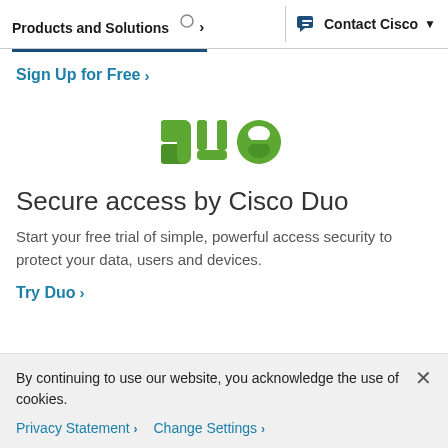Products and Solutions  >  Contact Cisco v
Sign Up for Free >
[Figure (logo): Duo by Cisco logo — green stylized 'Duo' wordmark with geometric shapes]
Secure access by Cisco Duo
Start your free trial of simple, powerful access security to protect your data, users and devices.
Try Duo >
By continuing to use our website, you acknowledge the use of cookies.
Privacy Statement >  Change Settings >